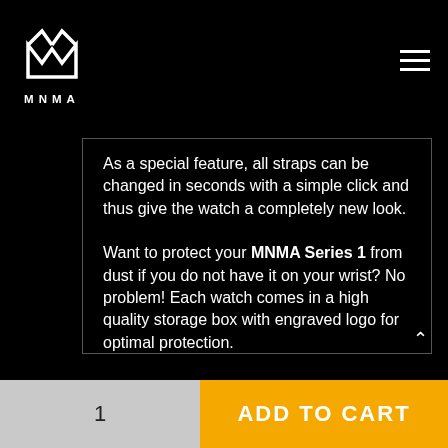MNMA
As a special feature, all straps can be changed in seconds with a simple click and thus give the watch a completely new look.
Want to protect your MNMA Series 1 from dust if you do not have it on your wrist? No problem! Each watch comes in a high quality storage box with engraved logo for optimal protection.
ADD TO CART